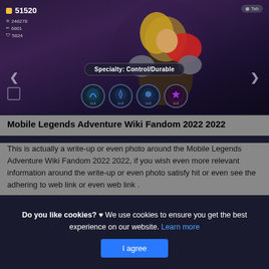[Figure (screenshot): Mobile Legends Adventure game screenshot showing a character with stats: 51520 gold, 246278, 6801, 5824. Specialty: Control/Durable badge visible. Navigation arrows and four skill icons shown at bottom.]
Mobile Legends Adventure Wiki Fandom 2022 2022
This is actually a write-up or even photo around the Mobile Legends Adventure Wiki Fandom 2022 2022, if you wish even more relevant information around the write-up or even photo satisfy hit or even see the adhering to web link or even web link .
(Read More)
Do you like cookies? ♥ We use cookies to ensure you get the best experience on our website. Learn more
I agree